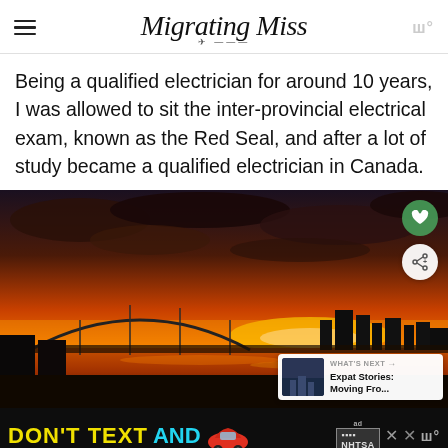Migrating Miss
Being a qualified electrician for around 10 years, I was allowed to sit the inter-provincial electrical exam, known as the Red Seal, and after a lot of study became a qualified electrician in Canada.
[Figure (photo): Dramatic sunset over a city with a river and bridge silhouette, orange and red sky with dark clouds. UI overlays include a heart button, share button, and a 'What's Next' card showing 'Expat Stories: Moving Fro...']
[Figure (screenshot): Advertisement bar at bottom: 'DON'T TEXT AND' with car emoji, NHTSA ad badge, close buttons and weather icon.]